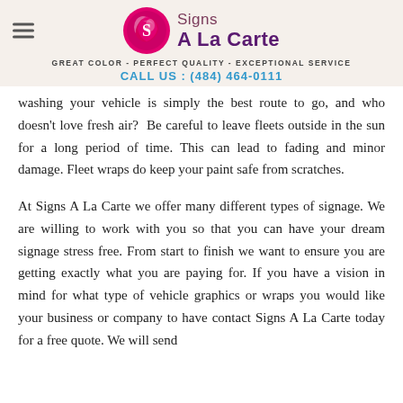Signs A La Carte | GREAT COLOR - PERFECT QUALITY - EXCEPTIONAL SERVICE | CALL US : (484) 464-0111
washing your vehicle is simply the best route to go, and who doesn't love fresh air?  Be careful to leave fleets outside in the sun for a long period of time. This can lead to fading and minor damage. Fleet wraps do keep your paint safe from scratches.
At Signs A La Carte we offer many different types of signage. We are willing to work with you so that you can have your dream signage stress free. From start to finish we want to ensure you are getting exactly what you are paying for. If you have a vision in mind for what type of vehicle graphics or wraps you would like your business or company to have contact Signs A La Carte today for a free quote. We will send